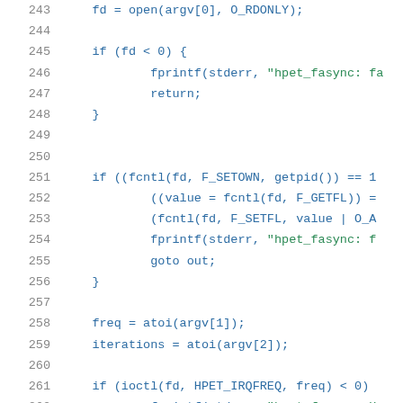[Figure (screenshot): Syntax-highlighted C source code snippet showing lines 243-264, with line numbers in grey, code in blue and string literals in green, on a white background.]